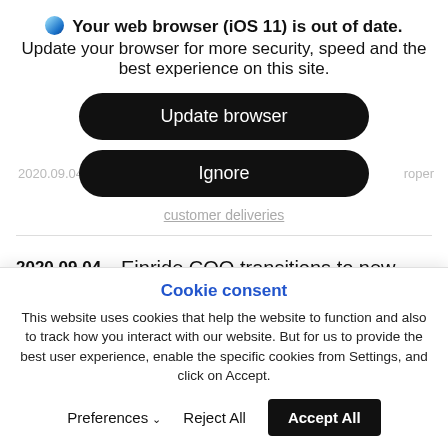Your web browser (iOS 11) is out of date. Update your browser for more security, speed and the best experience on this site.
[Figure (screenshot): Two black pill-shaped buttons: 'Update browser' and 'Ignore', overlaid on background website content]
customer deliveries
2020.09.04   Einride COO transitions to new role as U.S. General Manager
Cookie consent
This website uses cookies that help the website to function and also to track how you interact with our website. But for us to provide the best user experience, enable the specific cookies from Settings, and click on Accept.
Preferences  Reject All  Accept All